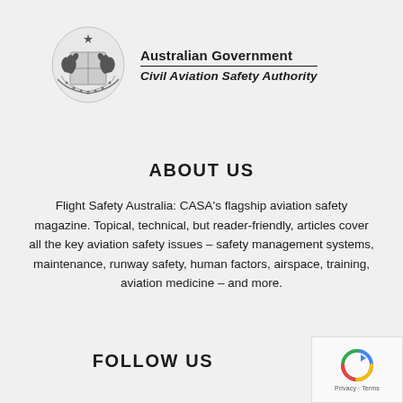[Figure (logo): Australian Government coat of arms with kangaroo and emu, alongside text: Australian Government / Civil Aviation Safety Authority]
ABOUT US
Flight Safety Australia: CASA's flagship aviation safety magazine. Topical, technical, but reader-friendly, articles cover all the key aviation safety issues – safety management systems, maintenance, runway safety, human factors, airspace, training, aviation medicine – and more.
FOLLOW US